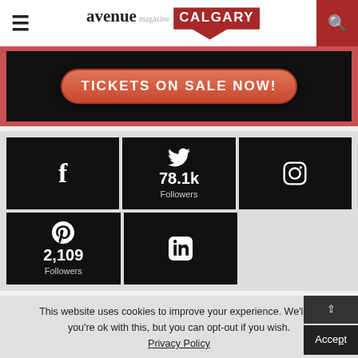avenue magazine CALGARY
[Figure (screenshot): Advertisement banner: black background with a red pill-shaped button reading 'TICKETS ON SALE NOW!' in white bold text, surrounded by a red/coral border]
[Figure (infographic): Social media follow widget grid showing: Facebook icon, Twitter with 78.1k Followers, Instagram icon, Pinterest with 2,109 Followers, LinkedIn icon — all on black backgrounds]
This website uses cookies to improve your experience. We'll as you're ok with this, but you can opt-out if you wish. Accept Privacy Policy